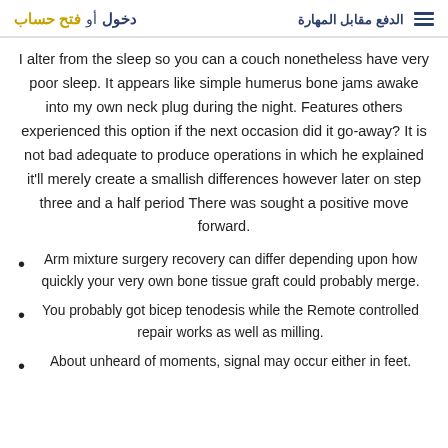الدفع مقابل المهارة  دخول أو فتح حساب
I alter from the sleep so you can a couch nonetheless have very poor sleep. It appears like simple humerus bone jams awake into my own neck plug during the night. Features others experienced this option if the next occasion did it go-away? It is not bad adequate to produce operations in which he explained it'll merely create a smallish differences however later on step three and a half period There was sought a positive move forward.
Arm mixture surgery recovery can differ depending upon how quickly your very own bone tissue graft could probably merge.
You probably got bicep tenodesis while the Remote controlled repair works as well as milling.
About unheard of moments, signal may occur either in feet.